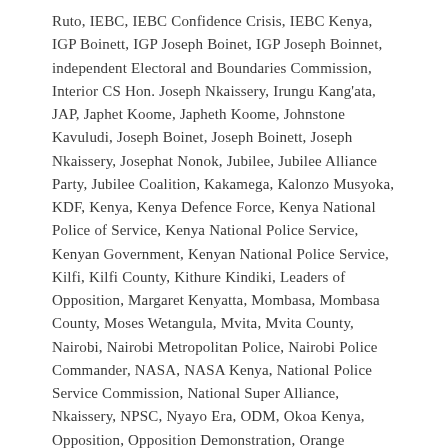Ruto, IEBC, IEBC Confidence Crisis, IEBC Kenya, IGP Boinett, IGP Joseph Boinet, IGP Joseph Boinnet, independent Electoral and Boundaries Commission, Interior CS Hon. Joseph Nkaissery, Irungu Kang'ata, JAP, Japhet Koome, Japheth Koome, Johnstone Kavuludi, Joseph Boinet, Joseph Boinett, Joseph Nkaissery, Josephat Nonok, Jubilee, Jubilee Alliance Party, Jubilee Coalition, Kakamega, Kalonzo Musyoka, KDF, Kenya, Kenya Defence Force, Kenya National Police of Service, Kenya National Police Service, Kenyan Government, Kenyan National Police Service, Kilfi, Kilfi County, Kithure Kindiki, Leaders of Opposition, Margaret Kenyatta, Mombasa, Mombasa County, Moses Wetangula, Mvita, Mvita County, Nairobi, Nairobi Metropolitan Police, Nairobi Police Commander, NASA, NASA Kenya, National Police Service Commission, National Super Alliance, Nkaissery, NPSC, Nyayo Era, ODM, Okoa Kenya, Opposition, Opposition Demonstration, Orange Democratic Movement, President Kenyatta, Promoted Officers, Rachel Shebesh, Raila Amollo Odinga, Raila Odinga, Republic of Kenya,